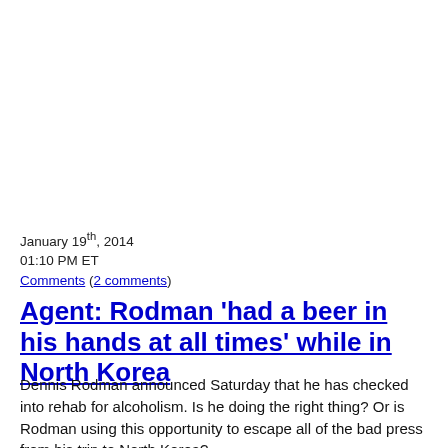January 19th, 2014
01:10 PM ET
Comments (2 comments)
Agent: Rodman 'had a beer in his hands at all times' while in North Korea
Dennis Rodman announced Saturday that he has checked into rehab for alcoholism. Is he doing the right thing? Or is Rodman using this opportunity to escape all of the bad press from his trip to North Korea?